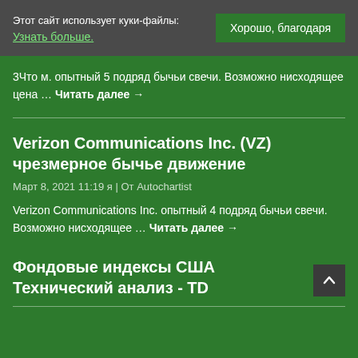Этот сайт использует куки-файлы: Узнать больше.
Хорошо, благодаря
3Что м. опытный 5 подряд бычьи свечи. Возможно нисходящее цена … Читать далее →
Verizon Communications Inc. (VZ) чрезмерное бычье движение
Март 8, 2021 11:19 я | От Autochartist
Verizon Communications Inc. опытный 4 подряд бычьи свечи. Возможно нисходящее … Читать далее →
Фондовые индексы США Технический анализ - TD